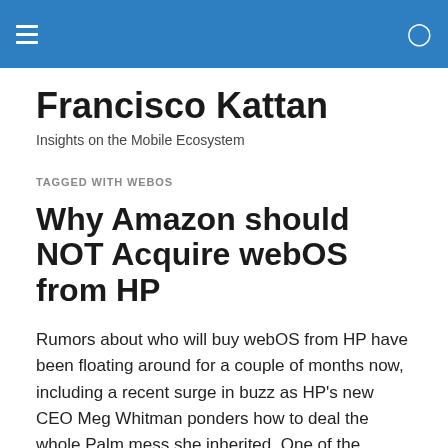Francisco Kattan — navigation bar
Francisco Kattan
Insights on the Mobile Ecosystem
TAGGED WITH WEBOS
Why Amazon should NOT Acquire webOS from HP
Rumors about who will buy webOS from HP have been floating around for a couple of months now, including a recent surge in buzz as HP's new CEO Meg Whitman ponders how to deal the whole Palm mess she inherited. One of the potential buyers that has gotten lots of attention